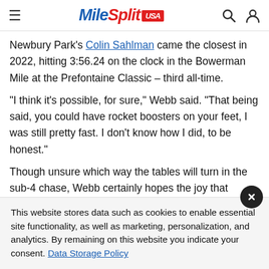MileSplit USA
Newbury Park's Colin Sahlman came the closest in 2022, hitting 3:56.24 on the clock in the Bowerman Mile at the Prefontaine Classic – third all-time.
"I think it's possible, for sure," Webb said. "That being said, you could have rocket boosters on your feet, I was still pretty fast. I don't know how I did, to be honest."
Though unsure which way the tables will turn in the sub-4 chase, Webb certainly hopes the joy that comes with breaking the barrier stays alive.
This website stores data such as cookies to enable essential site functionality, as well as marketing, personalization, and analytics. By remaining on this website you indicate your consent. Data Storage Policy